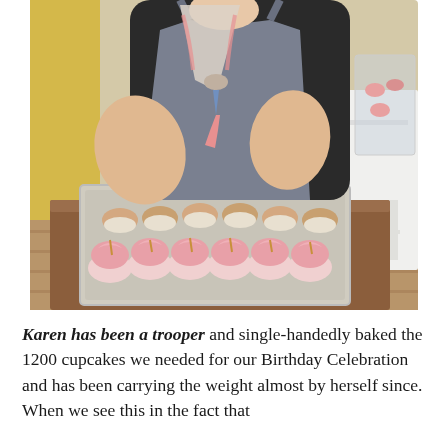[Figure (photo): A person wearing a black shirt and grey denim apron piping pink frosting onto cupcakes arranged on a baking tray on a wooden table. In the background is a white chair and a plastic container with more cupcakes.]
Karen has been a trooper and single-handedly baked the 1200 cupcakes we needed for our Birthday Celebration and has been carrying the weight almost by herself since. When we see this in the fact that...